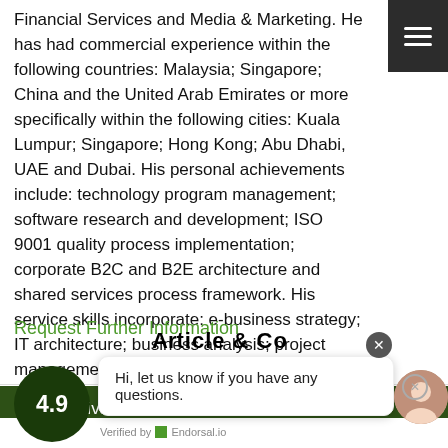Financial Services and Media & Marketing. He has had commercial experience within the following countries: Malaysia; Singapore; China and the United Arab Emirates or more specifically within the following cities: Kuala Lumpur; Singapore; Hong Kong; Abu Dhabi, UAE and Dubai. His personal achievements include: technology program management; software research and development; ISO 9001 quality process implementation; corporate B2C and B2E architecture and shared services process framework. His service skills incorporate: e-business strategy; IT architecture; business analysis; project management and program management.
Request Further Information
Mr O'Sullivan MBA BSc – Executive Consultant
[Figure (other): Rating badge showing 4.9 score, star rating display, chat bubble with text 'Hi, let us know if you have any questions.', avatar image, and Verified by Endorsal.io label]